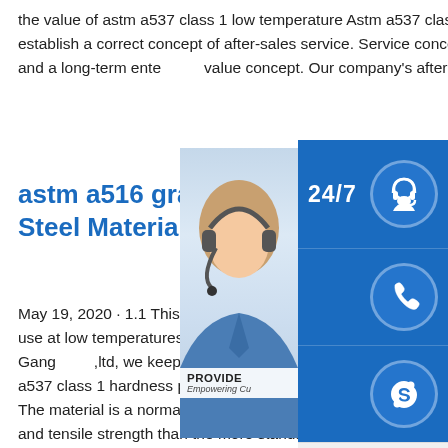the value of astm a537 class 1 low temperature Astm a537 class 1 low temperature,First of all, we should establish a correct concept of after-sales service. Service concept is an important part of corporate culture and a long-term enterprise value concept. Our company's after-sales se… the
[Figure (photo): Customer service sidebar widget with 24/7 label, headset icon, phone icon, Skype icon, person photo with headset, PROVIDE Empowering Customers text, and online live button]
astm a516 grade 60 prop… Steel Material Supplier
May 19, 2020 · 1.1 This specification covers … seamless and welded carbon and alloy steel … use at low temperatures. Several grades of f… included as listed in Table 1. At Henan Gang … ,ltd, we keep a stock of ASTM A516 Grade 60/ASME SA 516Gr60 carbon steel plates. astm a537 class 1 hardness price - Carbon Steels Applications of ASTM A537 Class 1 Carbon Steel Plate The material is a normalised steel which is heat treated and as a consequence displays greater yield and tensile strength than the more standard ASTM A516 grades. [price]ASTM A537 Class 2 Carbon Steel Plates for Pressure